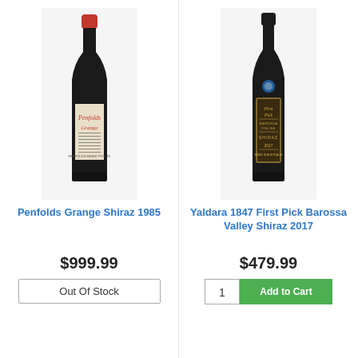[Figure (photo): Penfolds Grange Shiraz 1985 wine bottle with red cap and cream label]
Penfolds Grange Shiraz 1985
$999.99
Out Of Stock
[Figure (photo): Yaldara 1847 First Pick Barossa Valley Shiraz 2017 wine bottle, dark glass with gold label]
Yaldara 1847 First Pick Barossa Valley Shiraz 2017
$479.99
1
Add to Cart